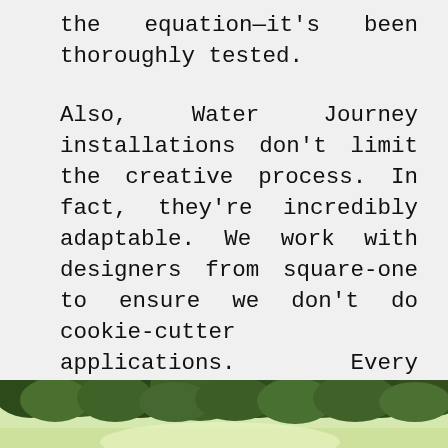the equation—it's been thoroughly tested.
Also, Water Journey installations don't limit the creative process. In fact, they're incredibly adaptable. We work with designers from square-one to ensure we don't do cookie-cutter applications. Every installation has a signature touch (how the product interacts with the rest of the space, how it changes the landscape...not to mention, there are many configurations designers are free to play with).
[Figure (photo): Outdoor landscape photo showing trees and greenery, partially visible at the bottom of the page]